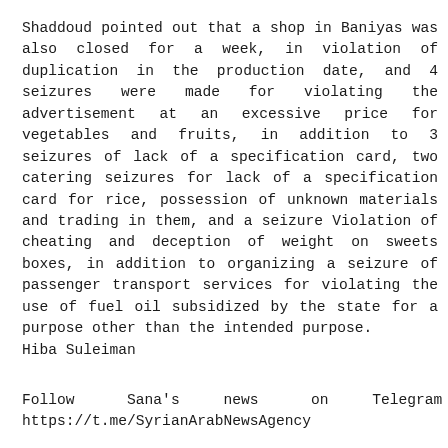Shaddoud pointed out that a shop in Baniyas was also closed for a week, in violation of duplication in the production date, and 4 seizures were made for violating the advertisement at an excessive price for vegetables and fruits, in addition to 3 seizures of lack of a specification card, two catering seizures for lack of a specification card for rice, possession of unknown materials and trading in them, and a seizure Violation of cheating and deception of weight on sweets boxes, in addition to organizing a seizure of passenger transport services for violating the use of fuel oil subsidized by the state for a purpose other than the intended purpose.
Hiba Suleiman
Follow Sana's news on Telegram https://t.me/SyrianArabNewsAgency